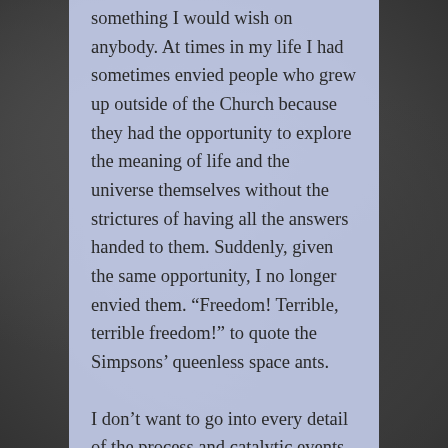something I would wish on anybody. At times in my life I had sometimes envied people who grew up outside of the Church because they had the opportunity to explore the meaning of life and the universe themselves without the strictures of having all the answers handed to them. Suddenly, given the same opportunity, I no longer envied them. “Freedom! Terrible, terrible freedom!” to quote the Simpsons’ queenless space ants.
I don’t want to go into every detail of the process and catalytic events that led